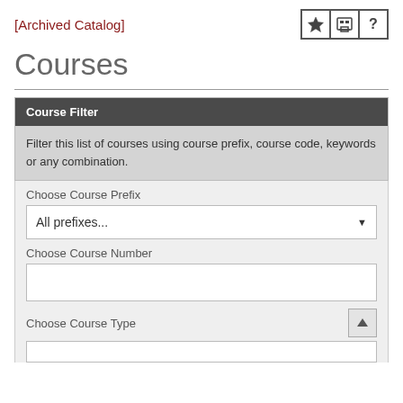[Archived Catalog]
Courses
Course Filter
Filter this list of courses using course prefix, course code, keywords or any combination.
Choose Course Prefix
All prefixes...
Choose Course Number
Choose Course Type